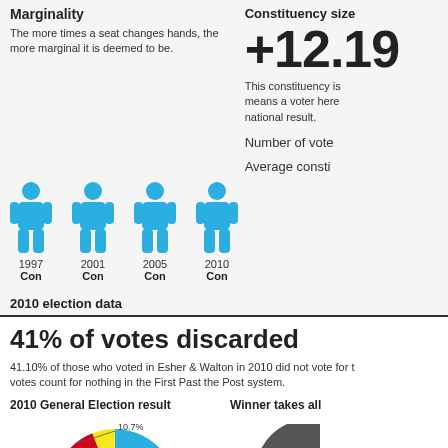Marginality
The more times a seat changes hands, the more marginal it is deemed to be.
Constituency size
+12.19
This constituency is... means a voter here... national result.
Number of vote...
Average consti...
[Figure (infographic): Four blue person icons representing election years 1997, 2001, 2005, 2010 each won by Con (Conservative)]
2010 election data
41% of votes discarded
41.10% of those who voted in Esher & Walton in 2010 did not vote for t... votes count for nothing in the First Past the Post system.
2010 General Election result
Winner takes all
[Figure (pie-chart): 2010 General Election result]